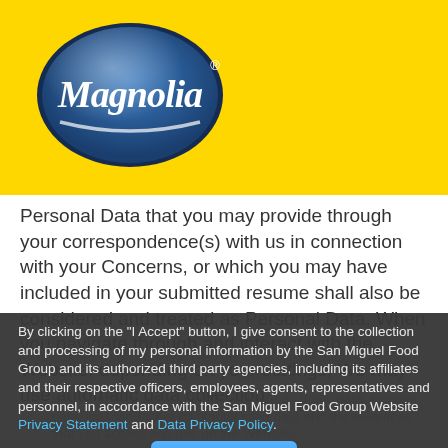[Figure (logo): Magnolia brand logo — blue oval with white cursive Magnolia text and registered trademark symbol, on yellow background]
Personal Data that you may provide through your correspondence(s) with us in connection with your Concerns, or which you may have included in your submitted resume shall also be considered and treated as Personal Data. When you navigate through and interact with the Website, depending on your settings, We may use automatic data collection
technologies (e.g., cookies, web beacons, small data
By clicking on the "I Accept" button, I give consent to the collection and processing of my personal information by the San Miguel Food Group and its authorized third party agencies, including its affiliates and their respective officers, employees, agents, representatives and personnel, in accordance with the San Miguel Food Group Website Privacy Statement and Data Privacy Policy.
Details of your visits to the Website (e.g., traffic data, location data, logs, and other communication data and the resources that you access and use on the Website).